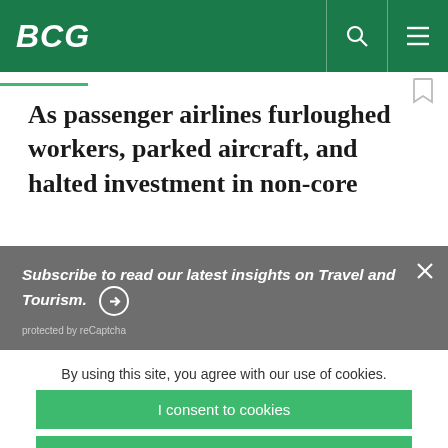BCG
As passenger airlines furloughed workers, parked aircraft, and halted investment in non-core
Subscribe to read our latest insights on Travel and Tourism.
protected by reCaptcha
By using this site, you agree with our use of cookies.
I consent to cookies
Want to know more?
Read our Cookie Policy